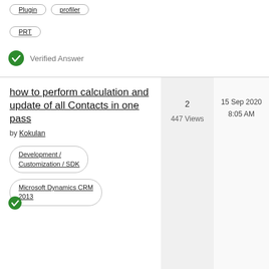Plugin
profiler
PRT
Verified Answer
how to perform calculation and update of all Contacts in one pass
by Kokulan
Development / Customization / SDK
Microsoft Dynamics CRM 2013
2
447 Views
15 Sep 2020
8:05 AM